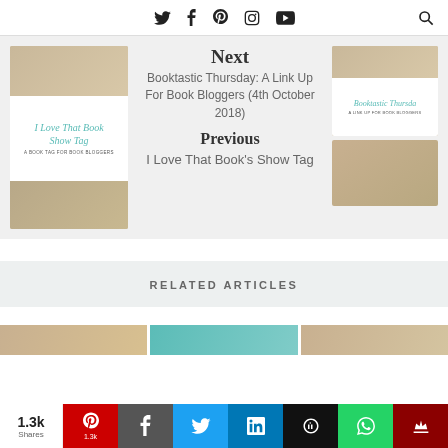Social media navigation icons and search
[Figure (screenshot): Navigation card: Next - Booktastic Thursday: A Link Up For Book Bloggers (4th October 2018); Previous - I Love That Book's Show Tag]
RELATED ARTICLES
[Figure (screenshot): Three article thumbnail images in a row]
[Figure (infographic): Social share bar with 1.3k shares, Pinterest, Facebook, Twitter, LinkedIn, Hootsuite, WhatsApp, and crown icon buttons]